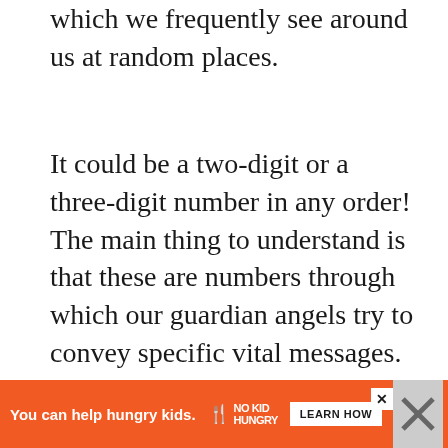which we frequently see around us at random places.
It could be a two-digit or a three-digit number in any order! The main thing to understand is that these are numbers through which our guardian angels try to convey specific vital messages. Since they can't come and talk to us directly, they use these numbers to grab our attention.
Angel Number 690 is one such angelic sign sent across by the divine realm. Remind yourself that seeing this number means be... reason
[Figure (other): Advertisement banner: orange background with text 'You can help hungry kids.' and No Kid Hungry logo and LEARN HOW button. Close button (X) visible. Partially obscured content below.]